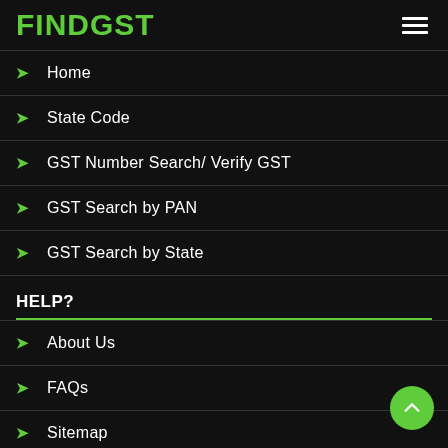[Figure (logo): FINDGST logo in green with hamburger menu icon on the right]
Home
State Code
GST Number Search/ Verify GST
GST Search by PAN
GST Search by State
HELP?
About Us
FAQs
Sitemap